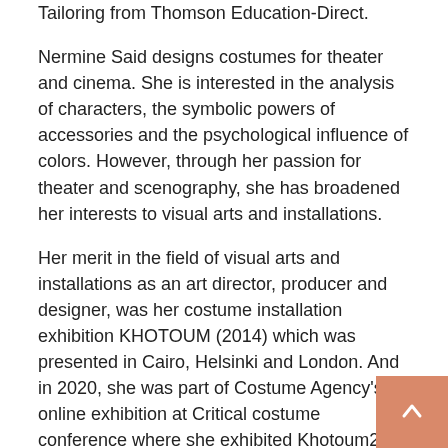Tailoring from Thomson Education-Direct.
Nermine Said designs costumes for theater and cinema. She is interested in the analysis of characters, the symbolic powers of accessories and the psychological influence of colors. However, through her passion for theater and scenography, she has broadened her interests to visual arts and installations.
Her merit in the field of visual arts and installations as an art director, producer and designer, was her costume installation exhibition KHOTOUM (2014) which was presented in Cairo, Helsinki and London. And in 2020, she was part of Costume Agency's online exhibition at Critical costume conference where she exhibited Khotoum2 (2020) for the first time.
The musician Mohammed Sami
[Figure (photo): Placeholder image box with broken image icon]